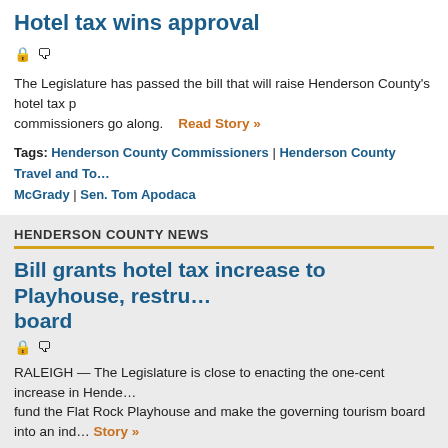Hotel tax wins approval
The Legislature has passed the bill that will raise Henderson County's hotel tax p... commissioners go along.
Read Story »
Tags: Henderson County Commissioners | Henderson County Travel and To... McGrady | Sen. Tom Apodaca
HENDERSON COUNTY NEWS
Bill grants hotel tax increase to Playhouse, restru... board
RALEIGH — The Legislature is close to enacting the one-cent increase in Hende... fund the Flat Rock Playhouse and make the governing tourism board into an ind... Story »
Tags: Henderson County politics | Henderson County Travel and Tourism b... Sen. Tom Apodaca